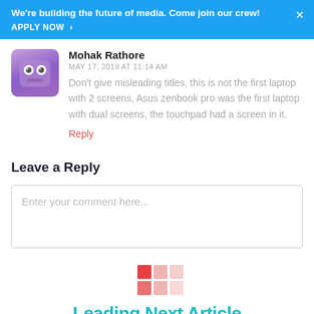We're building the future of media. Come join our crew! APPLY NOW >
Mohak Rathore
MAY 17, 2019 AT 11:14 AM
Don't give misleading titles, this is not the first laptop with 2 screens, Asus zenbook pro was the first laptop with dual screens, the touchpad had a screen in it.
Reply
Leave a Reply
Enter your comment here...
[Figure (logo): Leading Next Article logo — colorful grid of squares in red/pink tones with teal text]